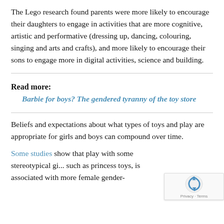The Lego research found parents were more likely to encourage their daughters to engage in activities that are more cognitive, artistic and performative (dressing up, dancing, colouring, singing and arts and crafts), and more likely to encourage their sons to engage more in digital activities, science and building.
Read more:
Barbie for boys? The gendered tyranny of the toy store
Beliefs and expectations about what types of toys and play are appropriate for girls and boys can compound over time.
Some studies show that play with some stereotypical gi... such as princess toys, is associated with more female gender-